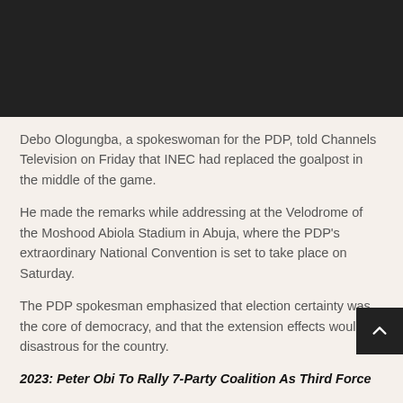[Figure (photo): Dark/black rectangular image area at the top of the page]
Debo Ologungba, a spokeswoman for the PDP, told Channels Television on Friday that INEC had replaced the goalpost in the middle of the game.
He made the remarks while addressing at the Velodrome of the Moshood Abiola Stadium in Abuja, where the PDP’s extraordinary National Convention is set to take place on Saturday.
The PDP spokesman emphasized that election certainty was the core of democracy, and that the extension effects would be disastrous for the country.
2023: Peter Obi To Rally 7-Party Coalition As Third Force